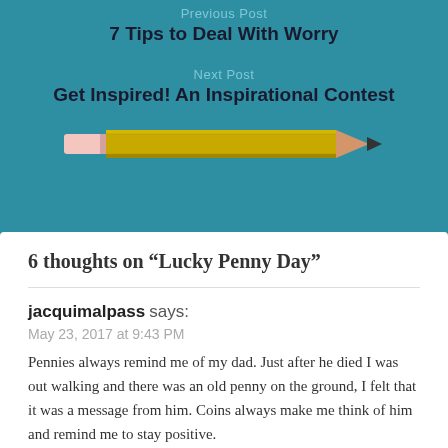Previous Post
7 Tips to Deal With Worry
Next Post
Get Inspired! An Inspirational Contest
[Figure (illustration): A yellow pencil illustration pointing to the right]
6 thoughts on “Lucky Penny Day”
jacquimalpass says:
May 23, 2017 at 9:43 PM
Pennies always remind me of my dad. Just after he died I was out walking and there was an old penny on the ground, I felt that it was a message from him. Coins always make me think of him and remind me to stay positive.